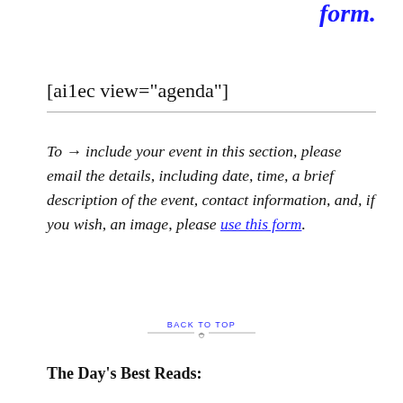form.
[ai1ec view="agenda"]
To  include your event in this section, please email the details, including date, time, a brief description of the event, contact information, and, if you wish, an image, please use this form.
BACK TO TOP
The Day's Best Reads: